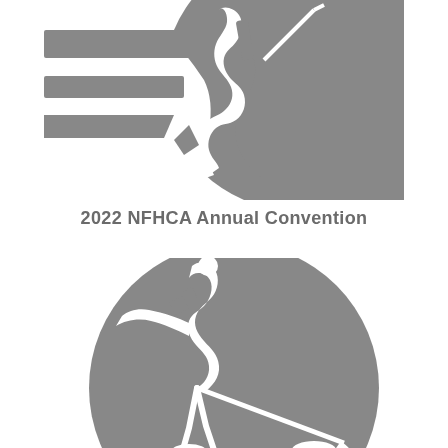[Figure (logo): NFHCA logo top portion — silhouette of a field hockey player mid-swing overlaid on a grey circle, with horizontal banner/ribbon shapes to the left in grey]
2022 NFHCA Annual Convention
[Figure (illustration): Silhouette illustration of a field hockey player swinging a stick, overlaid on a large grey circle, lower half of logo]